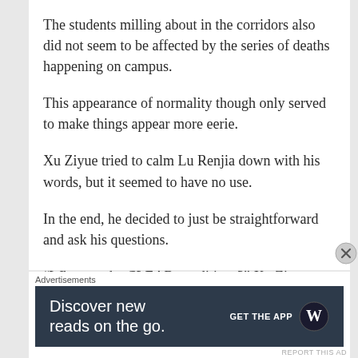The students milling about in the corridors also did not seem to be affected by the series of deaths happening on campus.
This appearance of normality though only served to make things appear more eerie.
Xu Ziyue tried to calm Lu Renjia down with his words, but it seemed to have no use.
In the end, he decided to just be straightforward and ask his questions.
“What are the CLEAR conditions?” Xu Ziyue asked.
Advertisements
[Figure (other): WordPress app advertisement banner with text 'Discover new reads on the go.' and 'GET THE APP' with WordPress logo]